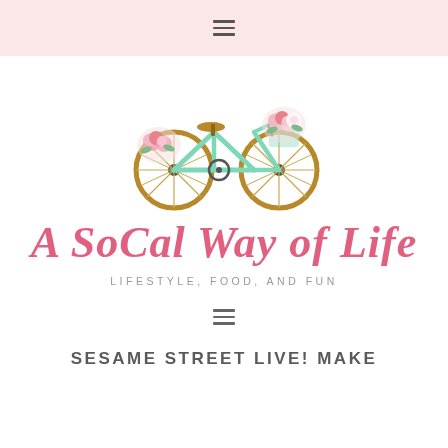≡ (hamburger menu icon)
[Figure (logo): Illustration of a mint-green bicycle decorated with pink roses and flowers, serving as the blog logo image]
A SoCal Way of Life
LIFESTYLE, FOOD, AND FUN
≡ (hamburger menu icon)
SESAME STREET LIVE! MAKE